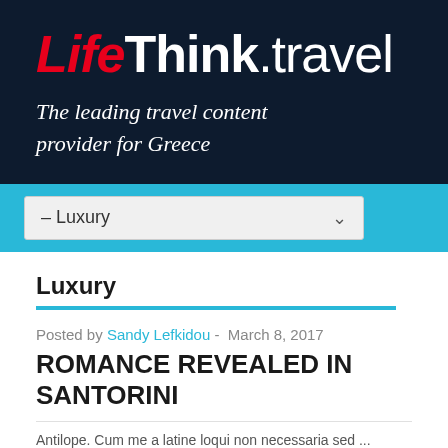LifeThink.travel
The leading travel content provider for Greece
– Luxury
Luxury
Posted by Sandy Lefkidou - March 8, 2017
ROMANCE REVEALED IN SANTORINI